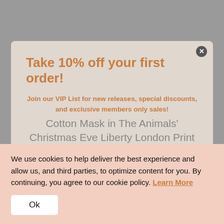Take 10% off your first order!
Join our VIP List for new releases, special discounts, and exclusive members only sales!
Cotton Mask in The Animals' Christmas Eve Liberty London Print
$15.00
Your First Name | Your Email Address
SUBMIT
We use cookies to help deliver the best experience and allow us, and third parties, to optimize content for you. By continuing, you agree to our cookie policy. Learn More
Ok